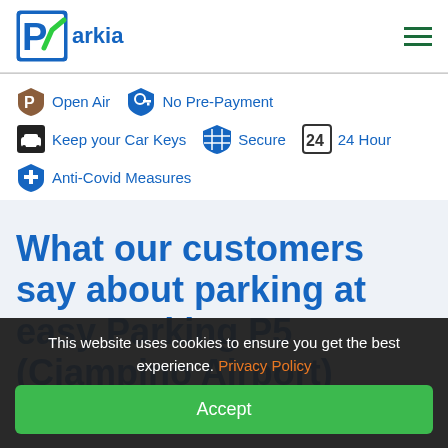[Figure (logo): ParkVia logo with blue P in a square and green checkmark]
Open Air
No Pre-Payment
Keep your Car Keys
Secure
24 Hour
Anti-Covid Measures
What our customers say about parking at easy Parking P5 (Ciampino Airport)
This website uses cookies to ensure you get the best experience. Privacy Policy
Accept